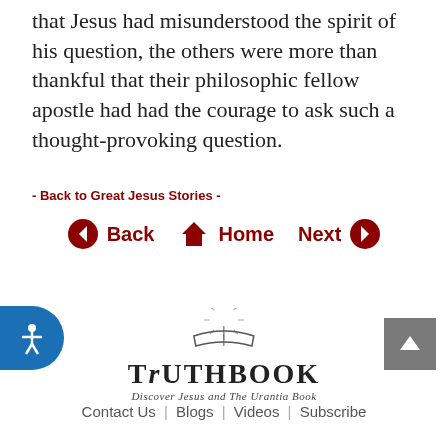that Jesus had misunderstood the spirit of his question, the others were more than thankful that their philosophic fellow apostle had had the courage to ask such a thought-provoking question.
- Back to Great Jesus Stories -
Back   Home   Next
[Figure (logo): TruthBook logo with rays and open book, subtitle: Discover Jesus and The Urantia Book]
Contact Us | Blogs | Videos | Subscribe